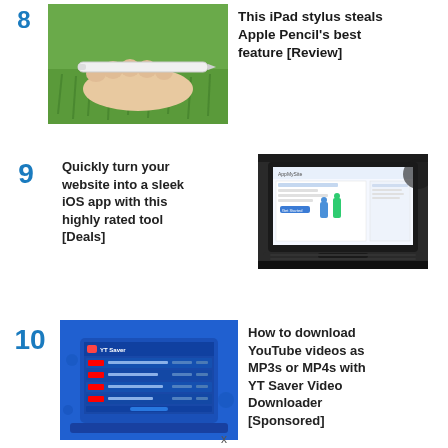8 This iPad stylus steals Apple Pencil's best feature [Review]
[Figure (photo): Hand holding a white iPad stylus pen over green grass background]
9 Quickly turn your website into a sleek iOS app with this highly rated tool [Deals]
[Figure (screenshot): Laptop screen showing a web app builder interface with AppMySite branding]
10 How to download YouTube videos as MP3s or MP4s with YT Saver Video Downloader [Sponsored]
[Figure (screenshot): YT Saver application interface shown on a blue background with laptop]
x